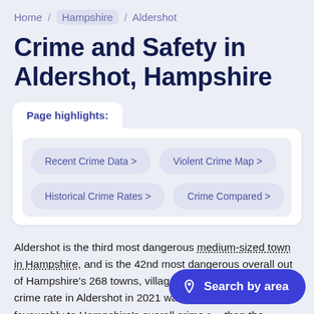Home / Hampshire / Aldershot
Crime and Safety in Aldershot, Hampshire
Page highlights:
Recent Crime Data >
Violent Crime Map >
Historical Crime Rates >
Crime Compared >
Aldershot is the third most dangerous medium-sized town in Hampshire, and is the 42nd most dangerous overall out of Hampshire's 268 towns, villages, and cities. The overall crime rate in Aldershot in 2021 was 75 crimes per 1,0... favourably to Hampshire's overall crime r... than the Hampshire rate of 89 per 1,000 residents. For England...